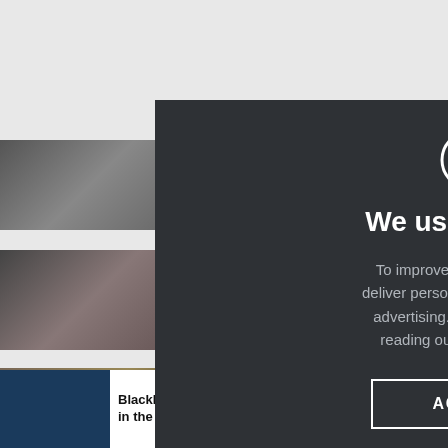[Figure (screenshot): Website page with article thumbnails and text snippets visible in background behind a cookie consent modal overlay]
[Figure (screenshot): Cookie consent modal dialog on dark background (#2e3135) with cookie icon, title 'We use cookies', explanatory text, and ACCEPT button]
We use cookies
To improve your experience, deliver personalised content and advertising. Find out more by reading our cookie policy.
ACCEPT
BlackBerry Classic: a reheated Bold for those stuck in the past